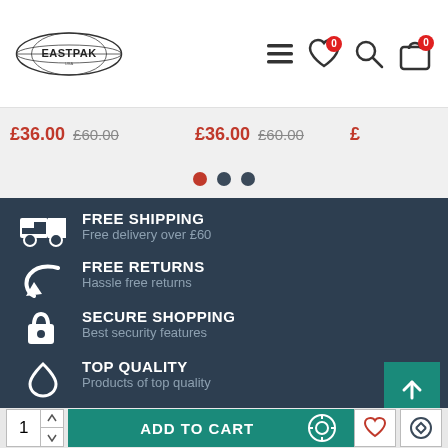[Figure (logo): Eastpak logo - oval shape with globe and EASTPAK text]
[Figure (screenshot): Navigation icons: hamburger menu, heart with 0 badge, search, shopping bag with 0 badge]
£36.00 £60.00   £36.00 £60.00   £
[Figure (infographic): Carousel dots: red filled, dark, dark]
[Figure (infographic): Dark blue section with four feature icons and text: FREE SHIPPING - Free delivery over £60, FREE RETURNS - Hassle free returns, SECURE SHOPPING - Best security features, TOP QUALITY - Products of top quality]
[Figure (infographic): Teal back-to-top button with upward arrow]
1   ADD TO CART